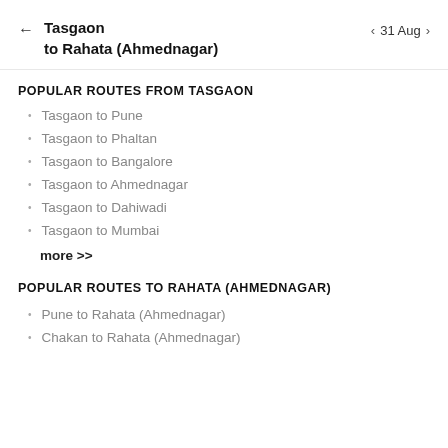Tasgaon to Rahata (Ahmednagar) | 31 Aug
POPULAR ROUTES FROM TASGAON
Tasgaon to Pune
Tasgaon to Phaltan
Tasgaon to Bangalore
Tasgaon to Ahmednagar
Tasgaon to Dahiwadi
Tasgaon to Mumbai
more >>
POPULAR ROUTES TO RAHATA (AHMEDNAGAR)
Pune to Rahata (Ahmednagar)
Chakan to Rahata (Ahmednagar)